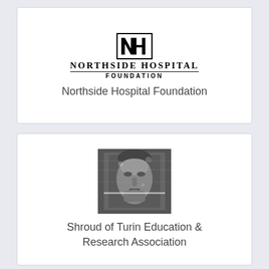[Figure (logo): Northside Hospital Foundation logo with NH monogram in a box and text beneath]
Northside Hospital Foundation
[Figure (photo): Black and white photo resembling the Shroud of Turin face image]
Shroud of Turin Education & Research Association